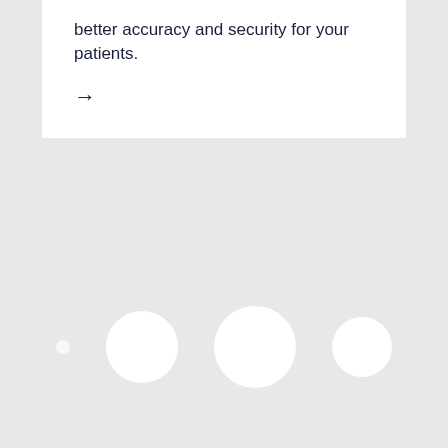better accuracy and security for your patients.
→
[Figure (illustration): Four white circles of varying sizes arranged in a row on a light grey background, suggesting a decorative or navigation element.]